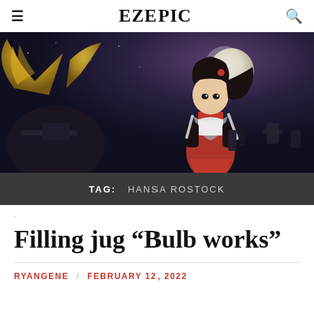≡  EZEPIC  🔍
[Figure (illustration): Anime-style illustration of a girl with long dark hair, red accessories, holding knives, wearing red and gray outfit, with golden armored wings/figure in foreground left, full moon in background, dark night sky]
TAG:  HANSA ROSTOCK
.
Filling jug “Bulb works”
RYANGENE  /  FEBRUARY 12, 2022